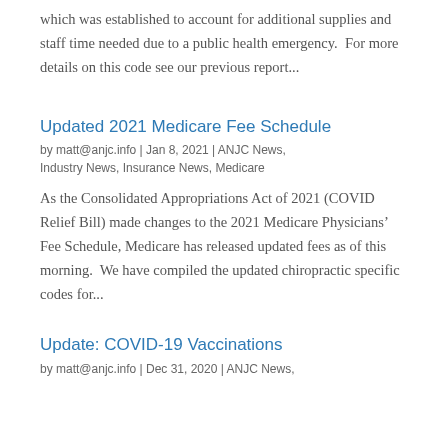which was established to account for additional supplies and staff time needed due to a public health emergency.  For more details on this code see our previous report...
Updated 2021 Medicare Fee Schedule
by matt@anjc.info | Jan 8, 2021 | ANJC News, Industry News, Insurance News, Medicare
As the Consolidated Appropriations Act of 2021 (COVID Relief Bill) made changes to the 2021 Medicare Physicians’ Fee Schedule, Medicare has released updated fees as of this morning.  We have compiled the updated chiropractic specific codes for...
Update: COVID-19 Vaccinations
by matt@anjc.info | Dec 31, 2020 | ANJC News,